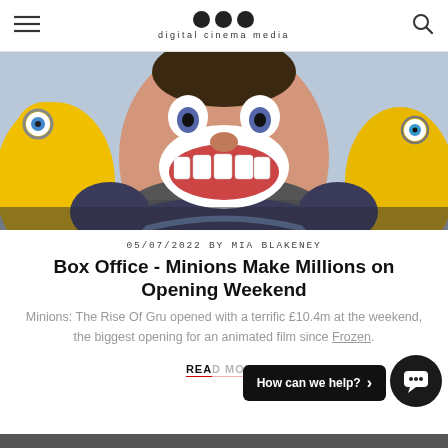digital cinema media
[Figure (photo): Animated characters from Minions: The Rise of Gru — young Gru laughing with minions in background, colorful animated scene]
05/07/2022 BY MIA BLAKENEY
Box Office - Minions Make Millions on Opening Weekend
Minions: The Rise Of Gru opened with a terrific £10.4m at the weekend, the biggest opening for an animated film since Frozen.
READ MORE